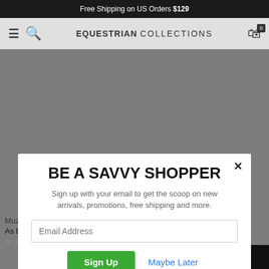Free Shipping on US Orders $129
EQUESTRIAN COLLECTIONS
[Figure (screenshot): Background e-commerce product listing page showing equestrian products with a modal dialog overlay]
BE A SAVVY SHOPPER
Sign up with your email to get the scoop on new arrivals, promotions, free shipping and more.
Email Address
Sign Up   Maybe Later
By signing up, you agree to our Terms & Conditions
Muzzle Liner Sheepskin
As Low As $10.95 $19.54
Miniature Horse Polo Wraps
Live Chat